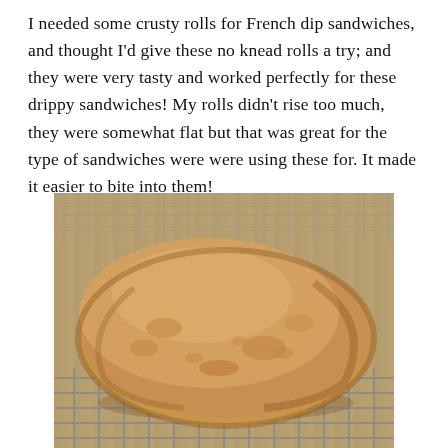I needed some crusty rolls for French dip sandwiches, and thought I'd give these no knead rolls a try; and they were very tasty and worked perfectly for these drippy sandwiches! My rolls didn't rise too much, they were somewhat flat but that was great for the type of sandwiches were were using these for. It made it easier to bite into them!
[Figure (photo): A rustic no-knead bread roll resting on a metal wire cooling rack. The roll is oval-shaped with a golden-brown crust, sitting on a grid-pattern cooling rack on a wooden surface.]